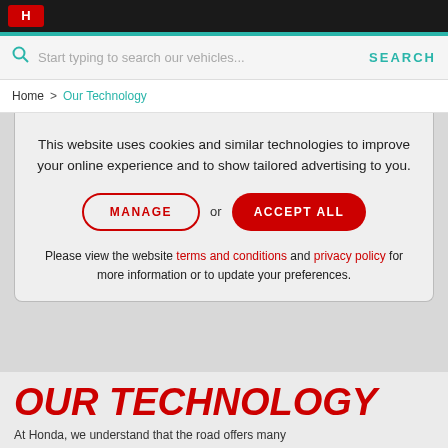Honda logo and navigation bar
Start typing to search our vehicles...
SEARCH
Home > Our Technology
This website uses cookies and similar technologies to improve your online experience and to show tailored advertising to you.
MANAGE or ACCEPT ALL
Please view the website terms and conditions and privacy policy for more information or to update your preferences.
OUR TECHNOLOGY
At Honda, we understand that the road offers many